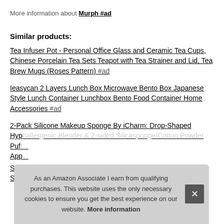More information about Murph #ad
Similar products:
Tea Infuser Pot - Personal Office Glass and Ceramic Tea Cups, Chinese Porcelain Tea Sets Teapot with Tea Strainer and Lid, Tea Brew Mugs (Roses Pattern) #ad
Ieasycan 2 Layers Lunch Box Microwave Bento Box Japanese Style Lunch Container Lunchbox Bento Food Container Home Accessories #ad
2-Pack Silicone Makeup Sponge By iCharm: Drop-Shaped Hypoallergenic Blender & 2-sided Silicasponge/Cotton Powder Puff...
App...
Sab... Spe...
As an Amazon Associate I earn from qualifying purchases. This website uses the only necessary cookies to ensure you get the best experience on our website. More information